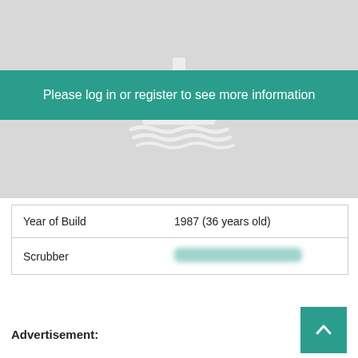[Figure (illustration): Gray placeholder image with a white ship/vessel icon in the center and a teal login banner overlay]
Please log in or register to see more information
| Year of Build | 1987 (36 years old) |
| Scrubber | [redacted/blurred] |
Advertisement: